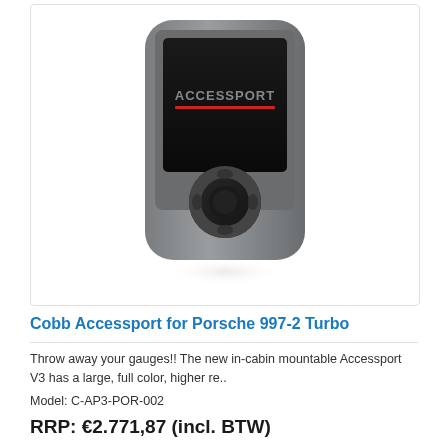[Figure (photo): COBB Accessport V3 handheld tuning device for Porsche, shown from the front with a black screen displaying the ACCESSPORT logo and a directional navigation button below]
Cobb Accessport for Porsche 997-2 Turbo
Throw away your gauges!! The new in-cabin mountable Accessport V3 has a large, full color, higher re..
Model: C-AP3-POR-002
RRP: €2.771,87 (incl. BTW)